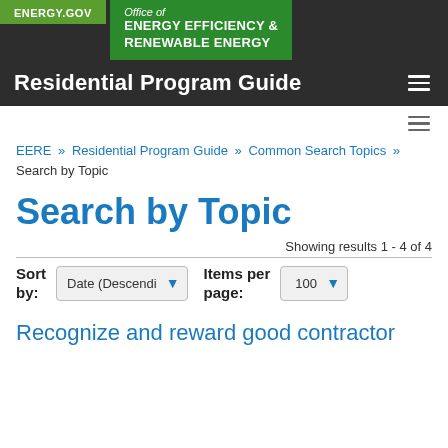ENERGY.GOV — Office of ENERGY EFFICIENCY & RENEWABLE ENERGY — Residential Program Guide
EERE » Residential Program Guide » Common Search Topics » Search by Topic
Search by Topic
Showing results 1 - 4 of 4
Sort by: Date (Descendi  Items per page: 100
Recognize and reward good contractor